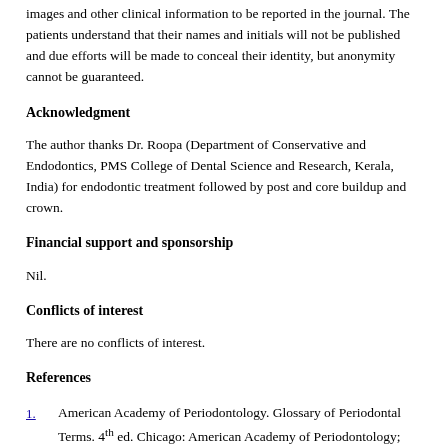images and other clinical information to be reported in the journal. The patients understand that their names and initials will not be published and due efforts will be made to conceal their identity, but anonymity cannot be guaranteed.
Acknowledgment
The author thanks Dr. Roopa (Department of Conservative and Endodontics, PMS College of Dental Science and Research, Kerala, India) for endodontic treatment followed by post and core buildup and crown.
Financial support and sponsorship
Nil.
Conflicts of interest
There are no conflicts of interest.
References
1. American Academy of Periodontology. Glossary of Periodontal Terms. 4th ed. Chicago: American Academy of Periodontology; 2001. p. 11. Back to cited text no.